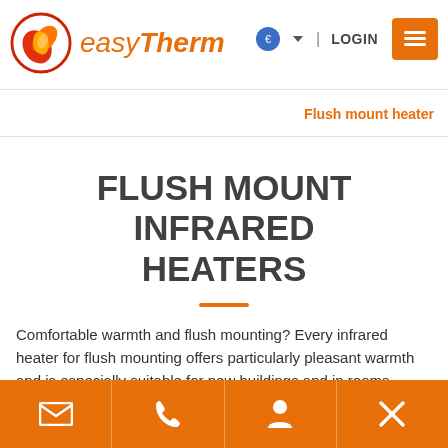[Figure (logo): easyTherm logo with swirling flame icon in red/orange and italic text 'easyTherm' in orange]
| LOGIN
Flush mount heater
FLUSH MOUNT INFRARED HEATERS
Comfortable warmth and flush mounting? Every infrared heater for flush mounting offers particularly pleasant warmth and is especially suitable for new buildings and in rooms where a comfortable warmth is desired but you cannot or do not want to
Email | Phone | Account | Close